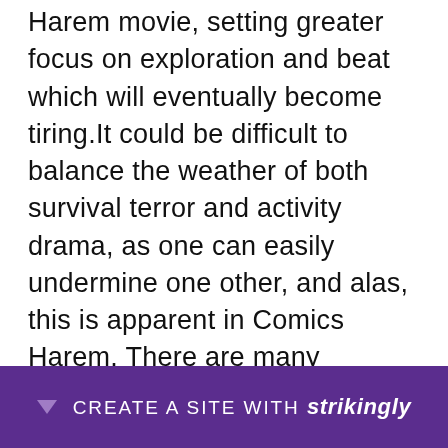for puzzles. Truly, are also rare in Comics Harem movie, setting greater focus on exploration and beat which will eventually become tiring.It could be difficult to balance the weather of both survival terror and activity drama, as one can easily undermine one other, and alas, this is apparent in Comics Harem. There are many moments at which the match's strengths for horror and action excel, specially during the more open areas at which in fact the rivals is afoot. Ordinarily, though--especially following the second half--its attempts to harmony both can come across as awkward, that can make things worse occasionally...
CREATE A SITE WITH strikingly